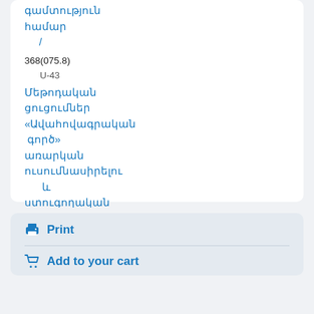գամտություն համար /
368(075.8)
    U-43
Մեթոդական ցուցումներ «Ավահովագրական գործ» առարկան ուսումնասիրելու և ստուգողական աշխատանք կատարելու համար /
Print
Add to your cart